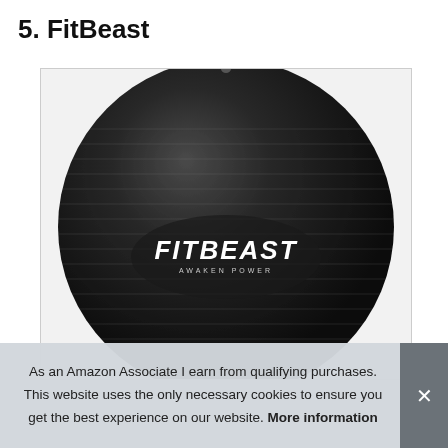5. FitBeast
[Figure (photo): A large black FitBeast exercise/stability ball with horizontal ribbed texture and the 'FITBEAST AWAKEN POWER' logo in white text on the front. The ball is shown against a white background inside a bordered image box.]
As an Amazon Associate I earn from qualifying purchases. This website uses the only necessary cookies to ensure you get the best experience on our website. More information